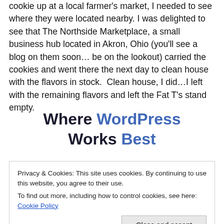cookie up at a local farmer's market, I needed to see where they were located nearby. I was delighted to see that The Northside Marketplace, a small business hub located in Akron, Ohio (you'll see a blog on them soon… be on the lookout) carried the cookies and went there the next day to clean house with the flavors in stock.  Clean house, I did…I left with the remaining flavors and left the Fat T's stand empty.
Where WordPress Works Best
Privacy & Cookies: This site uses cookies. By continuing to use this website, you agree to their use. To find out more, including how to control cookies, see here: Cookie Policy